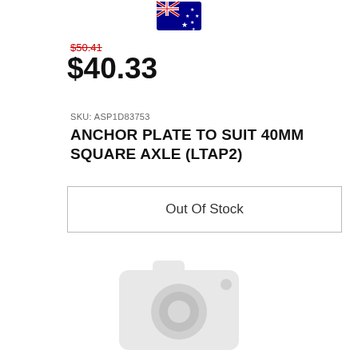[Figure (illustration): Australian flag emoji/icon positioned at top center]
$50.41 (strikethrough, old price)
$40.33
SKU: ASP1D83753
ANCHOR PLATE TO SUIT 40MM SQUARE AXLE (LTAP2)
Out Of Stock
[Figure (photo): Placeholder image with a light grey camera icon on white background]